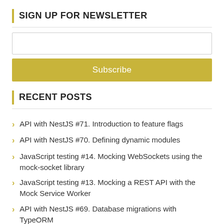SIGN UP FOR NEWSLETTER
Subscribe
RECENT POSTS
API with NestJS #71. Introduction to feature flags
API with NestJS #70. Defining dynamic modules
JavaScript testing #14. Mocking WebSockets using the mock-socket library
JavaScript testing #13. Mocking a REST API with the Mock Service Worker
API with NestJS #69. Database migrations with TypeORM